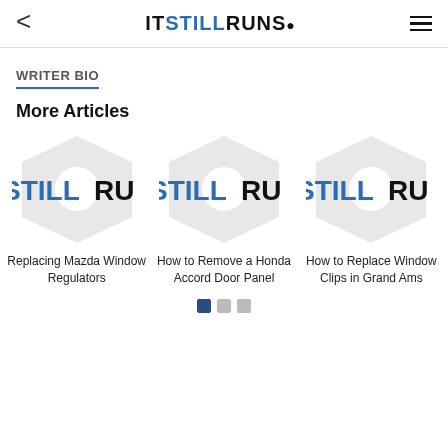< ITSTILLRUNS. ≡
WRITER BIO
More Articles
[Figure (logo): IStillRuns placeholder logo thumbnail card for Replacing Mazda Window Regulators]
Replacing Mazda Window Regulators
[Figure (logo): IStillRuns placeholder logo thumbnail card for How to Remove a Honda Accord Door Panel]
How to Remove a Honda Accord Door Panel
[Figure (logo): IStillRuns placeholder logo thumbnail card for How to Replace Window Clips in Grand Ams]
How to Replace Window Clips in Grand Ams